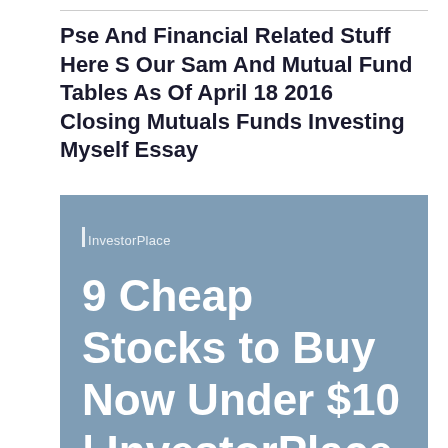Pse And Financial Related Stuff Here S Our Sam And Mutual Fund Tables As Of April 18 2016 Closing Mutuals Funds Investing Myself Essay
[Figure (screenshot): InvestorPlace article thumbnail with steel blue background showing headline '9 Cheap Stocks to Buy Now Under $10 | InvestorPlace' in large bold white text, with 'InvestorPlace' label in smaller text near the top left.]